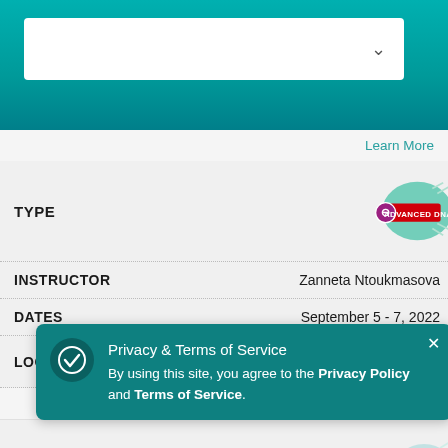[Figure (screenshot): Dropdown selector box with a down-arrow chevron on teal background header]
Learn More
TYPE
[Figure (logo): Advanced DNA badge with green bubble design and red banner label]
INSTRUCTOR   Zanneta Ntoukmasova
DATES   September 5 - 7, 2022
LOCATION   Greece  ONLINE SEMINAR
Learn More
T
[Figure (illustration): Partial green bubble/badge illustration for second course]
INSTRUCTOR   Sabrina Theresa Rinser
Privacy & Terms of Service
By using this site, you agree to the Privacy Policy and Terms of Service.